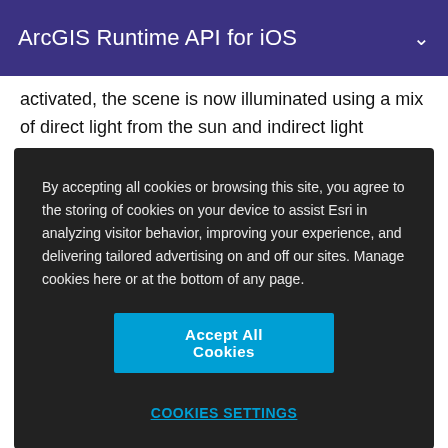ArcGIS Runtime API for iOS
activated, the scene is now illuminated using a mix of direct light from the sun and indirect light dispersed from the...
By accepting all cookies or browsing this site, you agree to the storing of cookies on your device to assist Esri in analyzing visitor behavior, improving your experience, and delivering tailored advertising on and off our sites. Manage cookies here or at the bottom of any page.
Accept All Cookies
Cookies Settings
Navigation and routing